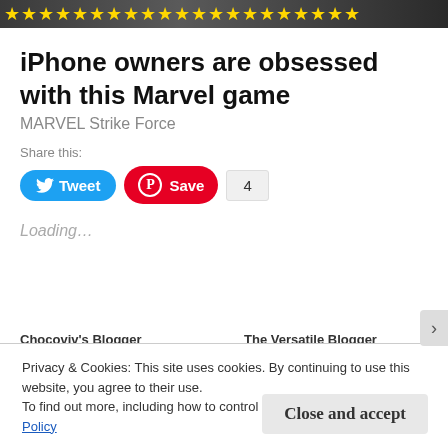[Figure (illustration): Stars banner across the top with gold stars on dark background]
iPhone owners are obsessed with this Marvel game
MARVEL Strike Force
Share this:
Tweet Save 4
Loading...
Chocoviv's Blogger   The Versatile Blogger
Privacy & Cookies: This site uses cookies. By continuing to use this website, you agree to their use.
To find out more, including how to control cookies, see here: Cookie Policy